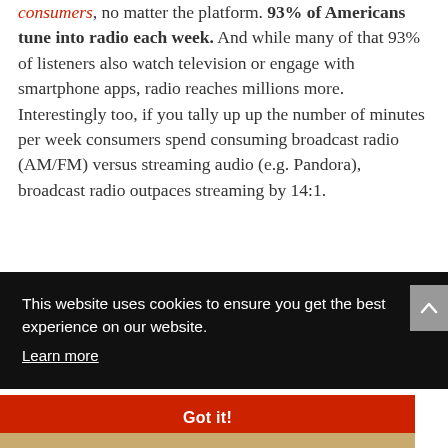consumers, no matter the platform. 93% of Americans tune into radio each week. And while many of that 93% of listeners also watch television or engage with smartphone apps, radio reaches millions more. Interestingly too, if you tally up up the number of minutes per week consumers spend consuming broadcast radio (AM/FM) versus streaming audio (e.g. Pandora), broadcast radio outpaces streaming by 14:1.
This website uses cookies to ensure you get the best experience on our website. Learn more
Got it!